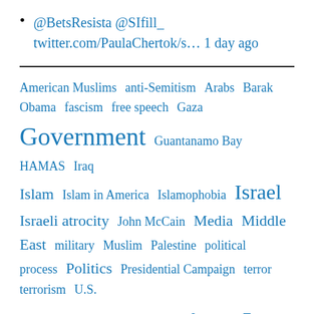@BetsResista @SIfill_ twitter.com/PaulaChertok/s… 1 day ago
American Muslims  anti-Semitism  Arabs  Barak Obama  fascism  free speech  Gaza  Government  Guantanamo Bay  HAMAS  Iraq  Islam  Islam in America  Islamophobia  Israel  Israeli atrocity  John McCain  Media  Middle East  military  Muslim  Palestine  political process  Politics  Presidential Campaign  terror  terrorism  U.S.
Uncategorized…